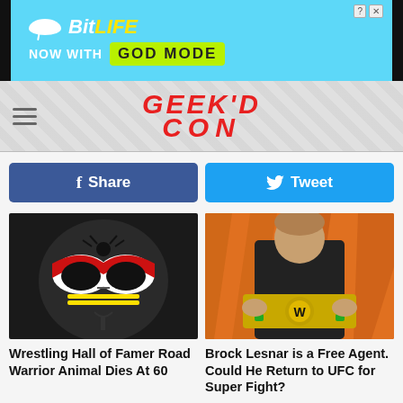[Figure (photo): BitLife advertisement banner - NOW WITH GOD MODE text on blue background with hand pointing graphic]
[Figure (logo): Geek'd Con website logo header with hamburger menu]
Share
Tweet
[Figure (photo): Wrestling Hall of Famer Road Warrior Animal with face paint]
Wrestling Hall of Famer Road Warrior Animal Dies At 60
[Figure (photo): Brock Lesnar holding WWE championship belt]
Brock Lesnar is a Free Agent. Could He Return to UFC for Super Fight?
[Figure (photo): Bottom left article thumbnail - blue arena image]
[Figure (photo): Bottom right article thumbnail - person with blonde hair]